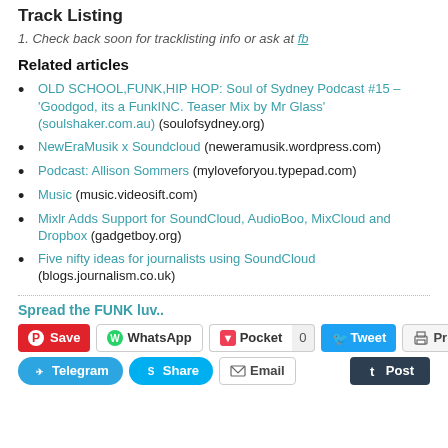Track Listing
1. Check back soon for tracklisting info or ask at fb
Related articles
OLD SCHOOL,FUNK,HIP HOP: Soul of Sydney Podcast #15 – 'Goodgod, its a FunkINC. Teaser Mix by Mr Glass' (soulshaker.com.au) (soulofsydney.org)
NewEraMusik x Soundcloud (neweramusik.wordpress.com)
Podcast: Allison Sommers (myloveforyou.typepad.com)
Music (music.videosift.com)
Mixlr Adds Support for SoundCloud, AudioBoo, MixCloud and Dropbox (gadgetboy.org)
Five nifty ideas for journalists using SoundCloud (blogs.journalism.co.uk)
Spread the FUNK luv..